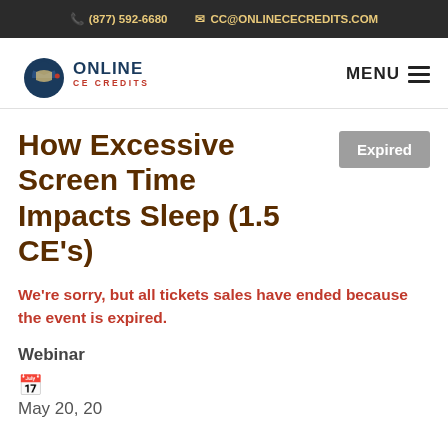(877) 592-6680  CC@ONLINECECREDITS.COM
[Figure (logo): Online CE Credits logo with graduation cap icon, blue and red text]
How Excessive Screen Time Impacts Sleep (1.5 CE's)
Expired
We're sorry, but all tickets sales have ended because the event is expired.
Webinar
May 20, 20
21